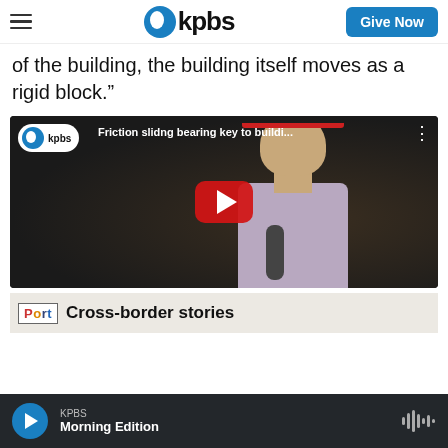KPBS | Give Now
of the building, the building itself moves as a rigid block.”
[Figure (screenshot): YouTube video embed thumbnail showing a KPBS video titled 'Friction sliding bearing key to buildi...' with a man wearing a red hard hat and holding a microphone, with a YouTube play button overlay]
[Figure (screenshot): Advertisement banner showing 'Port' logo and text 'Cross-border stories']
KPBS Morning Edition